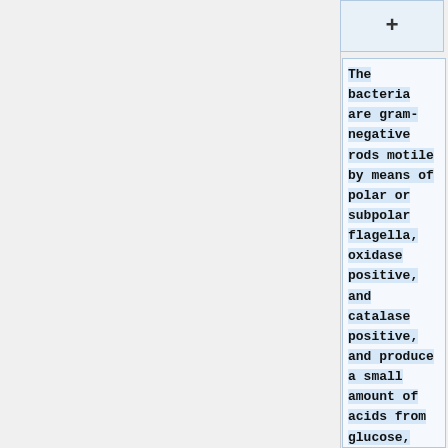+
The bacteria are gram-negative rods motile by means of polar or subpolar flagella, oxidase positive, and catalase positive, and produce a small amount of acids from glucose, fructose, xylose, and the other